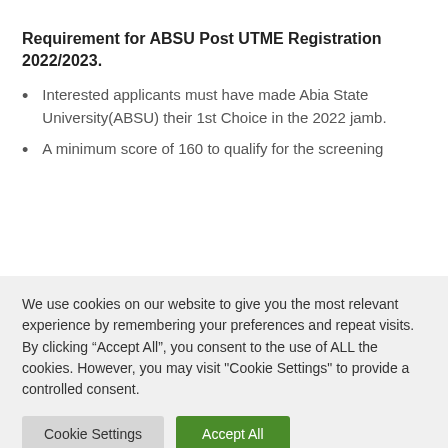Requirement for ABSU Post UTME Registration 2022/2023.
Interested applicants must have made Abia State University(ABSU) their 1st Choice in the 2022 jamb.
A minimum score of 160 to qualify for the screening
We use cookies on our website to give you the most relevant experience by remembering your preferences and repeat visits. By clicking "Accept All", you consent to the use of ALL the cookies. However, you may visit "Cookie Settings" to provide a controlled consent.